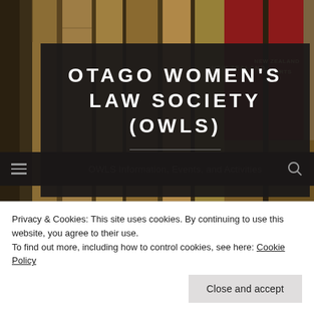[Figure (photo): Background photograph of old law books on a shelf, including books labeled 'New Zealand' and 'New Zealand Reports'. Books have worn brown and red leather spines.]
OTAGO WOMEN'S LAW SOCIETY (OWLS)
OWLS Information, Events, and Activities
Privacy & Cookies: This site uses cookies. By continuing to use this website, you agree to their use.
To find out more, including how to control cookies, see here: Cookie Policy